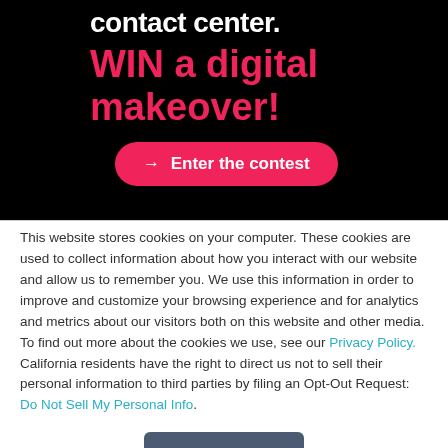[Figure (infographic): Black banner with white bold text 'contact center.' and pink bold text 'WIN a digital makeover!' with a pink rounded button 'Enter the contest']
This website stores cookies on your computer. These cookies are used to collect information about how you interact with our website and allow us to remember you. We use this information in order to improve and customize your browsing experience and for analytics and metrics about our visitors both on this website and other media. To find out more about the cookies we use, see our Privacy Policy. California residents have the right to direct us not to sell their personal information to third parties by filing an Opt-Out Request: Do Not Sell My Personal Info.
Accept